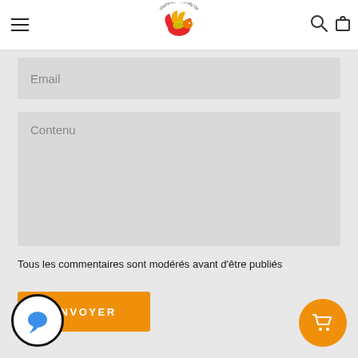[Figure (logo): Glommed Naturally Oil logo with phoenix/flame bird icon and circular text]
Email
Contenu
Tous les commentaires sont modérés avant d'être publiés
ENVOYER